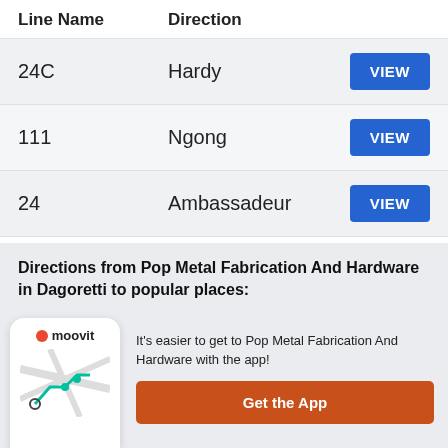| Line Name | Direction |  |
| --- | --- | --- |
| 24C | Hardy | VIEW |
| 111 | Ngong | VIEW |
| 24 | Ambassadeur | VIEW |
Directions from Pop Metal Fabrication And Hardware in Dagoretti to popular places:
From Pop Metal Fabrication And Hardware to the C...ore
It's easier to get to Pop Metal Fabrication And Hardware with the app!
Get the App